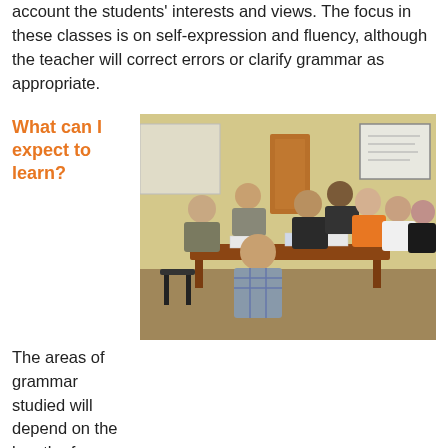account the students' interests and views. The focus in these classes is on self-expression and fluency, although the teacher will correct errors or clarify grammar as appropriate.
What can I expect to learn?
[Figure (photo): Group photo of students and teacher seated around a table in a classroom setting]
The areas of grammar studied will depend on the length of your stay and on the previous knowledge of the students in the group, but here are some of the grammar topics you can expect to cover at each level:
Elementary: regular and irregular verbs in the present tense, the use of ser and estar, reflexive pronouns, the present